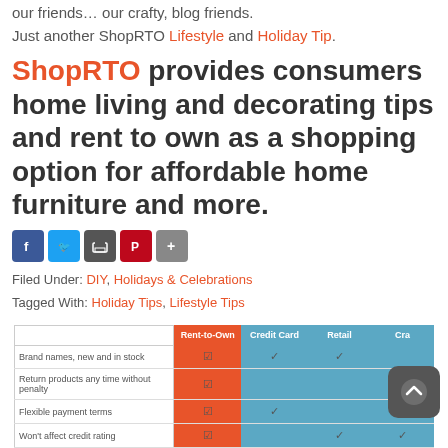our friends... our crafty, blog friends.
Just another ShopRTO Lifestyle and Holiday Tip.
ShopRTO provides consumers home living and decorating tips and rent to own as a shopping option for affordable home furniture and more.
[Figure (other): Social sharing icons: Facebook, Twitter, Print, Pinterest, Plus]
Filed Under: DIY, Holidays & Celebrations
Tagged With: Holiday Tips, Lifestyle Tips
|  | Rent-to-Own | Credit Card | Retail | Cra... |
| --- | --- | --- | --- | --- |
| Brand names, new and in stock | ☑ | ✓ | ✓ |  |
| Return products any time without penalty | ☑ |  |  |  |
| Flexible payment terms | ☑ | ✓ |  |  |
| Won't affect credit rating | ☑ |  | ✓ | ✓ |